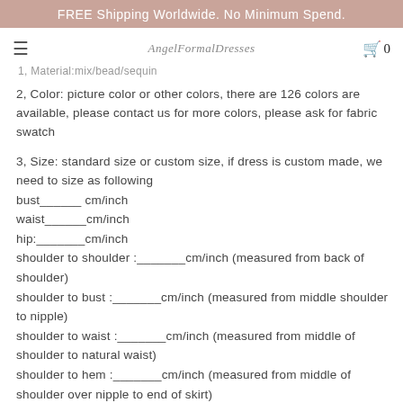FREE Shipping Worldwide. No Minimum Spend.
1, Material:mix/bead/sequin
2, Color: picture color or other colors, there are 126 colors are available, please contact us for more colors, please ask for fabric swatch
3, Size: standard size or custom size, if dress is custom made, we need to size as following
bust______ cm/inch
waist______cm/inch
hip:_______cm/inch
shoulder to shoulder :_______cm/inch (measured from back of shoulder)
shoulder to bust :_______cm/inch (measured from middle shoulder to nipple)
shoulder to waist :_______cm/inch (measured from middle of shoulder to natural waist)
shoulder to hem :_______cm/inch (measured from middle of shoulder over nipple to end of skirt)
nipple to nipple:_______cm/inch